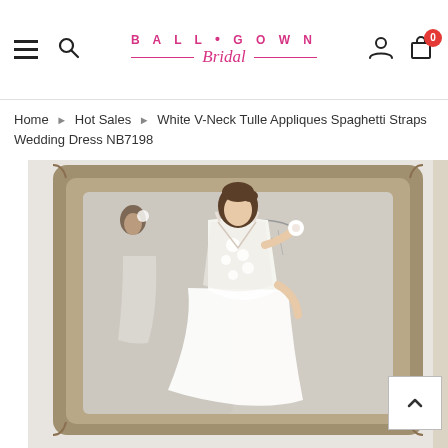BALL • GOWN Bridal
Home > Hot Sales > White V-Neck Tulle Appliques Spaghetti Straps Wedding Dress NB7198
[Figure (photo): A woman wearing a white V-neck tulle appliques spaghetti straps wedding dress, standing in front of an ornate silver mirror, holding a white flower. Her reflection is visible in the mirror. The dress features a sheer bodice with floral appliques and a flowing tulle skirt.]